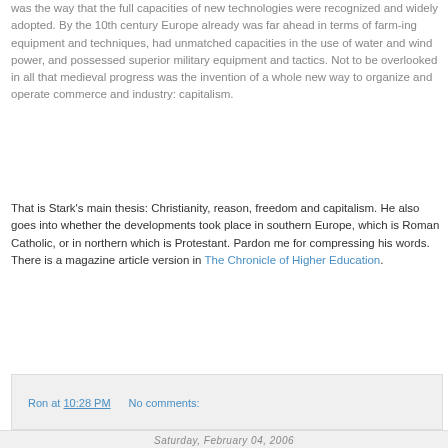was the way that the full capacities of new technologies were recognized and widely adopted. By the 10th century Europe already was far ahead in terms of farm-ing equipment and techniques, had unmatched capacities in the use of water and wind power, and possessed superior military equipment and tactics. Not to be overlooked in all that medieval progress was the invention of a whole new way to organize and operate commerce and industry: capitalism.
That is Stark's main thesis: Christianity, reason, freedom and capitalism. He also goes into whether the developments took place in southern Europe, which is Roman Catholic, or in northern which is Protestant. Pardon me for compressing his words. There is a magazine article version in The Chronicle of Higher Education.
Ron at 10:28 PM    No comments:
Saturday, February 04, 2006